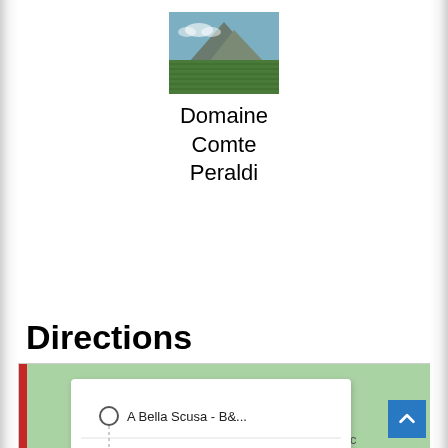[Figure (photo): Landscape photo showing green vineyard fields with a mountain in the background under a blue sky]
Domaine Comte Peraldi
Directions
[Figure (screenshot): Google Maps screenshot showing directions with popup: 'A Bella Scusa - B&...' as start and 'D127, 20163 Tave...' as destination with 'More options' link. Map shows La Statue-Menin De Tavera area with D127 road marker.]